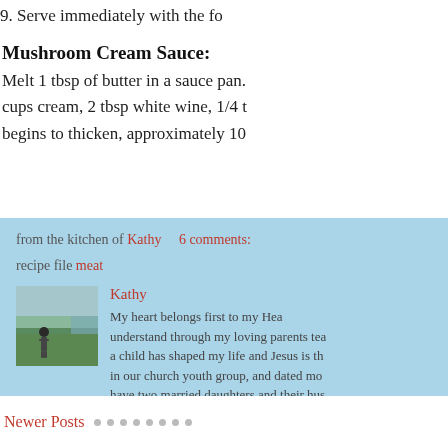9. Serve immediately with the fo
Mushroom Cream Sauce:
Melt 1 tbsp of butter in a sauce pan. cups cream, 2 tbsp white wine, 1/4 t begins to thicken, approximately 10
from the kitchen of Kathy    6 comments:
recipe file meat
Kathy
[Figure (photo): Photo of person standing outdoors near water and green landscape]
My heart belongs first to my Hea understand through my loving parents tea a child has shaped my life and Jesus is th in our church youth group, and dated mo have two married daughters and their hus age 7. I love my family! My happy place is share life with others around the table. I'd r relationship, engaging in good conversatio
Newer Posts